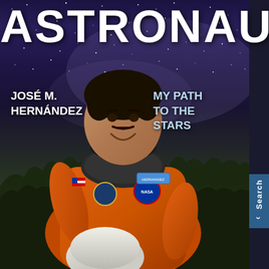[Figure (illustration): Book cover for 'Astronaut: My Path to the Stars' by José M. Hernández. Features an astronaut in an orange NASA spacesuit holding a white helmet, smiling, set against a starry night sky with the Milky Way visible and dark treeline in the background. A 'Search' tab with a right-pointing chevron appears on the right edge.]
ASTRONAUT
JOSÉ M. HERNÁNDEZ
MY PATH TO THE STARS